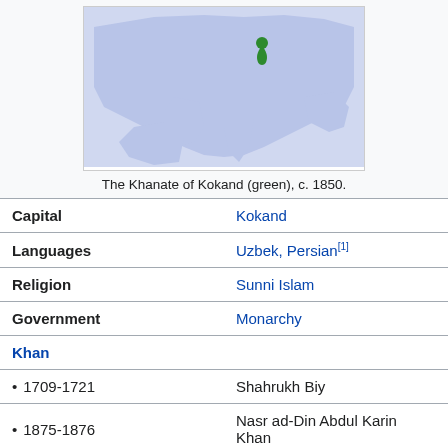[Figure (map): Map showing the location of the Khanate of Kokand (highlighted in green) on a map of Asia/Middle East region, c. 1850.]
The Khanate of Kokand (green), c. 1850.
| Capital | Kokand |
| Languages | Uzbek, Persian[1] |
| Religion | Sunni Islam |
| Government | Monarchy |
| Khan |  |
| • 1709-1721 | Shahrukh Biy |
| • 1875-1876 | Nasr ad-Din Abdul Karin Khan |
| History |  |
| • Established | 1709 |
| • Disestablished | 1876 |